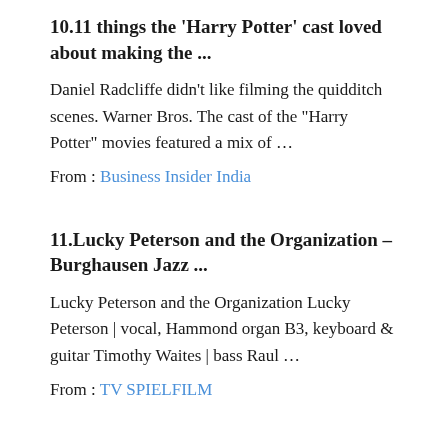10.11 things the 'Harry Potter' cast loved about making the ...
Daniel Radcliffe didn't like filming the quidditch scenes. Warner Bros. The cast of the "Harry Potter" movies featured a mix of ...
From : Business Insider India
11.Lucky Peterson and the Organization – Burghausen Jazz ...
Lucky Peterson and the Organization Lucky Peterson | vocal, Hammond organ B3, keyboard & guitar Timothy Waites | bass Raul ...
From : TV SPIELFILM